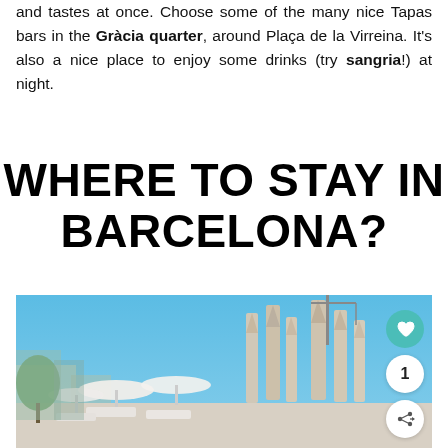and tastes at once. Choose some of the many nice Tapas bars in the Gràcia quarter, around Plaça de la Virreina. It's also a nice place to enjoy some drinks (try sangria!) at night.
WHERE TO STAY IN BARCELONA?
[Figure (photo): Rooftop terrace with white sun loungers and parasols, with the Sagrada Família cathedral visible in the background against a clear blue sky. Includes UI overlay buttons: heart/save, number 1, and share.]